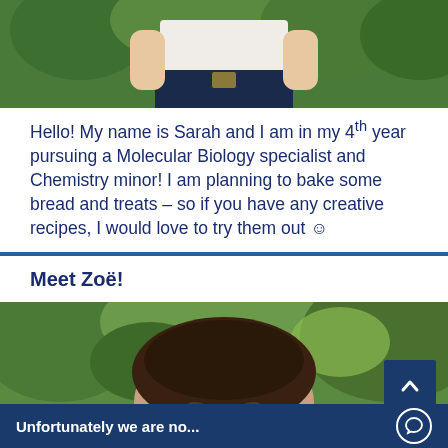[Figure (photo): Partial photo of a person wearing a white top and dark jeans, outdoors with green background, cropped at torso level]
Hello! My name is Sarah and I am in my 4th year pursuing a Molecular Biology specialist and Chemistry minor! I am planning to bake some bread and treats – so if you have any creative recipes, I would love to try them out 😊
Meet Zoë!
[Figure (photo): Photo of Zoë, showing face and hair with green leafy background, partially cropped]
Unfortunately we are no...